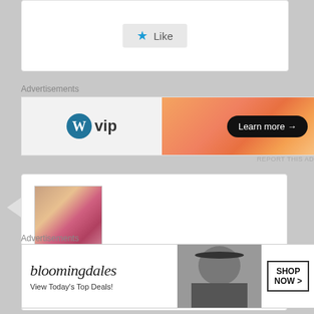[Figure (screenshot): Like button UI element with blue star icon on grey background]
Advertisements
[Figure (screenshot): WordPress VIP advertisement banner with orange gradient background and Learn more button]
REPORT THIS AD
[Figure (screenshot): Comment box with avatar image of decorated figure, author ashualec, date September 26, 2017 at 7:04 am, said: It is such a well written post on]
Advertisements
[Figure (screenshot): Bloomingdales advertisement: View Today's Top Deals! SHOP NOW >]